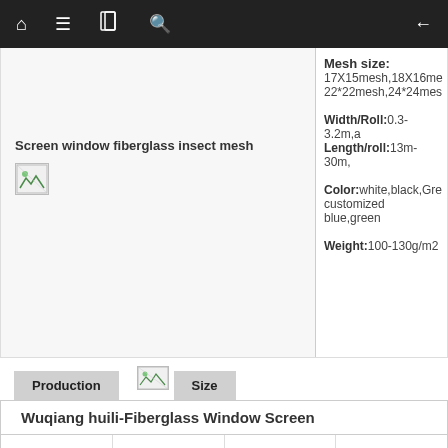Navigation bar with home, menu, book, search, and back icons
Screen window fiberglass insect mesh
[Figure (photo): Broken image placeholder for fiberglass insect mesh product photo]
Mesh size: 17X15mesh,18X16mesh, 22*22mesh,24*24mesh,
Width/Roll:0.3-3.2m,a Length/roll:13m-30m,
Color:white,black,Grey customized blue,green
Weight:100-130g/m2
Production
[Figure (photo): Broken image placeholder for production tab]
Size
Wuqiang huili-Fiberglass Window Screen